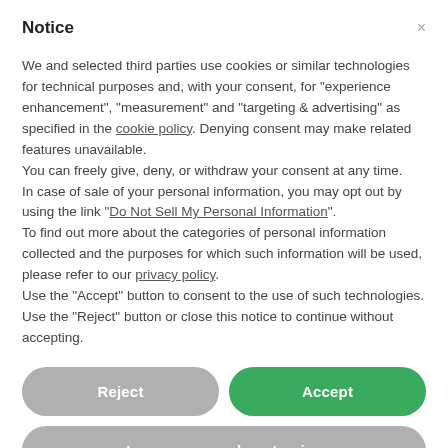Notice
We and selected third parties use cookies or similar technologies for technical purposes and, with your consent, for "experience enhancement", "measurement" and "targeting & advertising" as specified in the cookie policy. Denying consent may make related features unavailable.
You can freely give, deny, or withdraw your consent at any time.
In case of sale of your personal information, you may opt out by using the link "Do Not Sell My Personal Information".
To find out more about the categories of personal information collected and the purposes for which such information will be used, please refer to our privacy policy.
Use the "Accept" button to consent to the use of such technologies. Use the "Reject" button or close this notice to continue without accepting.
[Figure (screenshot): Two buttons side by side: 'Reject' (grey, rounded) and 'Accept' (green, rounded)]
[Figure (screenshot): 'Learn more and customise' button (grey, full width, rounded)]
[Figure (photo): Partial image strip showing mountains/water scene in blue tones, with a small logo thumbnail on the right]
FOR KIDS   CAMPGROUND   SPORT   RESTAURANT   ENTERTAINM